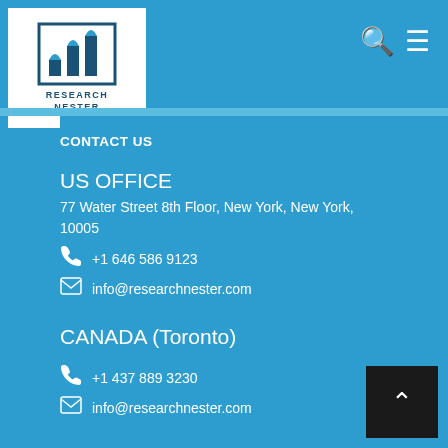Research Nester
CONTACT US
US OFFICE
77 Water Street 8th Floor, New York, New York, 10005
+1 646 586 9123
info@researchnester.com
CANADA (Toronto)
+1 437 889 3230
info@researchnester.com
UK OFFICE (London)
+44 203 608 5919
info@researchnester.com